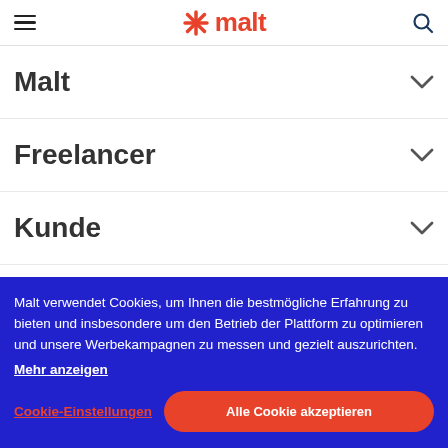malt (logo with hamburger menu and search icon)
Malt
Freelancer
Kunde
Malt verwendet Cookies, um Ihnen die bestmögliche Erfahrung zu bieten und insbesondere um den Betrieb der Plattform zu optimieren und unsere Werbekampagnen zu messen und gezielt auszurichten.
Mehr anzeigen
Cookie-Einstellungen
Alle Cookie akzeptieren